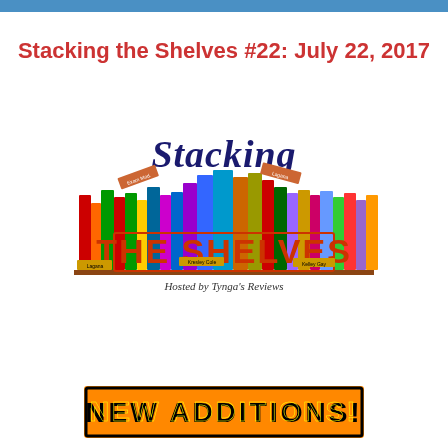Stacking the Shelves #22: July 22, 2017
[Figure (logo): Stacking the Shelves logo featuring colorful stacked books and the text 'Stacking THE SHELVES Hosted by Tynga's Reviews']
[Figure (infographic): Orange and black banner reading 'NEW ADDITIONS!' in bold decorative text]